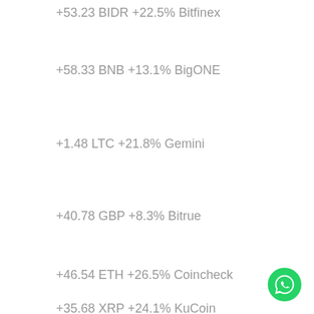+53.23 BIDR +22.5% Bitfinex
+58.33 BNB +13.1% BigONE
+1.48 LTC +21.8% Gemini
+40.78 GBP +8.3% Bitrue
+46.54 ETH +26.5% Coincheck
+35.68 XRP +24.1% KuCoin